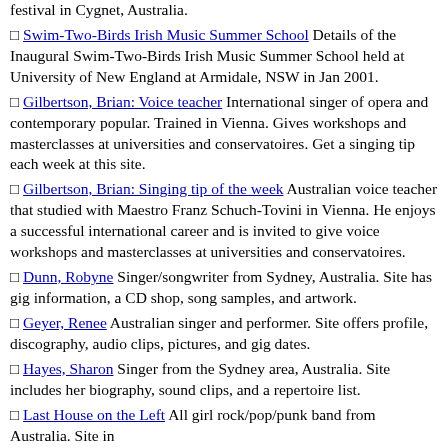festival in Cygnet, Australia.
Swim-Two-Birds Irish Music Summer School Details of the Inaugural Swim-Two-Birds Irish Music Summer School held at University of New England at Armidale, NSW in Jan 2001.
Gilbertson, Brian: Voice teacher International singer of opera and contemporary popular. Trained in Vienna. Gives workshops and masterclasses at universities and conservatoires. Get a singing tip each week at this site.
Gilbertson, Brian: Singing tip of the week Australian voice teacher that studied with Maestro Franz Schuch-Tovini in Vienna. He enjoys a successful international career and is invited to give voice workshops and masterclasses at universities and conservatoires.
Dunn, Robyne Singer/songwriter from Sydney, Australia. Site has gig information, a CD shop, song samples, and artwork.
Geyer, Renee Australian singer and performer. Site offers profile, discography, audio clips, pictures, and gig dates.
Hayes, Sharon Singer from the Sydney area, Australia. Site includes her biography, sound clips, and a repertoire list.
Last House on the Left All girl rock/pop/punk band from Australia. Site includes her profile, pictures, and...